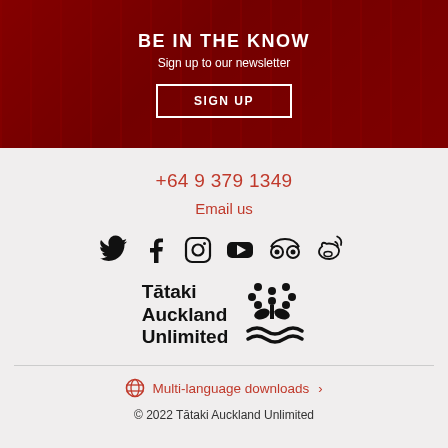BE IN THE KNOW
Sign up to our newsletter
SIGN UP
+64 9 379 1349
Email us
[Figure (logo): Social media icons: Twitter, Facebook, Instagram, YouTube, TripAdvisor, Weibo]
[Figure (logo): Tātaki Auckland Unlimited logo with stylized plant/flower icon]
Multi-language downloads
© 2022 Tātaki Auckland Unlimited